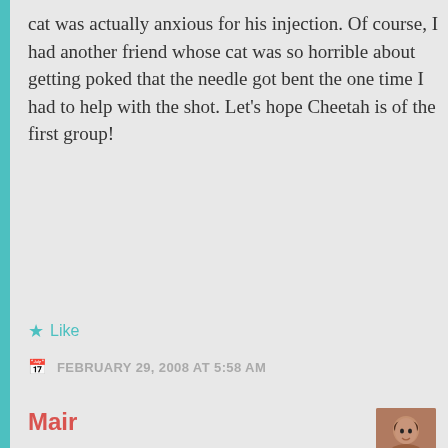cat was actually anxious for his injection. Of course, I had another friend whose cat was so horrible about getting poked that the needle got bent the one time I had to help with the shot. Let’s hope Cheetah is of the first group!
★ Like
FEBRUARY 29, 2008 AT 5:58 AM
Mair
[Figure (photo): Small square avatar photo of a woman with dark hair, smiling]
Bethie: I’m “very” sorry that Cheetah has diabetes. That’s really weird. I, too, didn’t know that it was possible for cats to have diabetes.